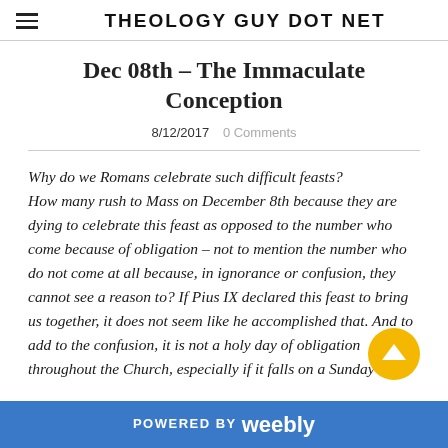THEOLOGY GUY DOT NET
Dec 08th - The Immaculate Conception
8/12/2017   0 Comments
Why do we Romans celebrate such difficult feasts? How many rush to Mass on December 8th because they are dying to celebrate this feast as opposed to the number who come because of obligation – not to mention the number who do not come at all because, in ignorance or confusion, they cannot see a reason to? If Pius IX declared this feast to bring us together, it does not seem like he accomplished that. And to add to the confusion, it is not a holy day of obligation throughout the Church, especially if it falls on a Sunday and
POWERED BY weebly